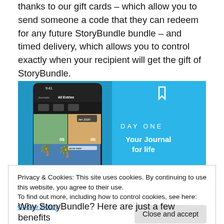thanks to our gift cards – which allow you to send someone a code that they can redeem for any future StoryBundle bundle – and timed delivery, which allows you to control exactly when your recipient will get the gift of StoryBundle.
[Figure (screenshot): Screenshot of Day One app showing journal entries with photos on a mobile phone, next to a blue promotional panel showing 'DAY ONE — Your Journal for life']
Privacy & Cookies: This site uses cookies. By continuing to use this website, you agree to their use.
To find out more, including how to control cookies, see here: Cookie Policy
Why StoryBundle? Here are just a few benefits